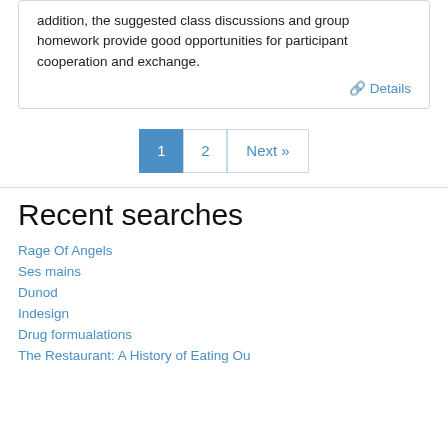addition, the suggested class discussions and group homework provide good opportunities for participant cooperation and exchange.
Details
1  2  Next »
Recent searches
Rage Of Angels
Ses mains
Dunod
Indesign
Drug formualations
The Restaurant: A History of Eating Ou